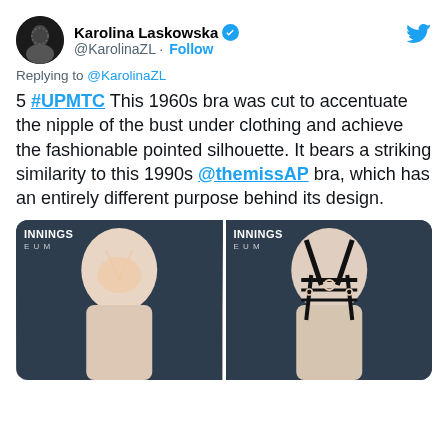[Figure (photo): Twitter/X post by Karolina Laskowska with avatar, verified badge, handle @KarolinaZL, Follow button, and Twitter bird icon]
Replying to @KarolinaZL
5 #UPMTC This 1960s bra was cut to accentuate the nipple of the bust under clothing and achieve the fashionable pointed silhouette. It bears a striking similarity to this 1990s @themissAP bra, which has an entirely different purpose behind its design.
[Figure (photo): Two side-by-side photos of mannequin torsos displaying bras. Left image shows a light/nude colored bra on a white mannequin with dark background, labeled INNINGS EUM. Right image shows a black strappy bra on a white mannequin with dark background, labeled INNINGS EUM.]